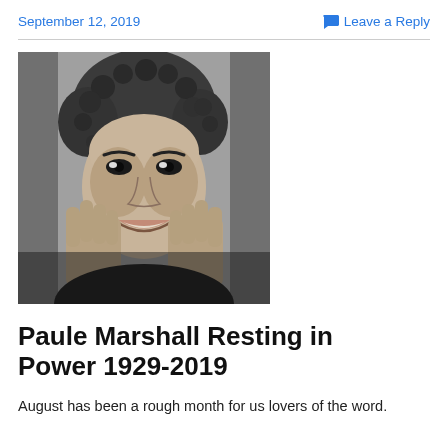September 12, 2019
Leave a Reply
[Figure (photo): Black and white portrait photograph of Paule Marshall, a woman with curly gray hair, smiling and holding her hands up to her cheeks.]
Paule Marshall Resting in Power 1929-2019
August has been a rough month for us lovers of the word.